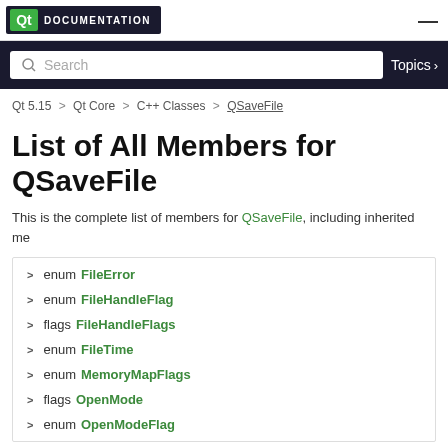Qt Documentation
Search  Topics
Qt 5.15 > Qt Core > C++ Classes > QSaveFile
List of All Members for QSaveFile
This is the complete list of members for QSaveFile, including inherited me
enum FileError
enum FileHandleFlag
flags FileHandleFlags
enum FileTime
enum MemoryMapFlags
flags OpenMode
enum OpenModeFlag